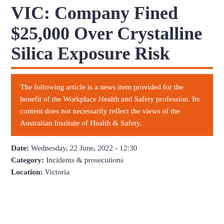VIC: Company Fined $25,000 Over Crystalline Silica Exposure Risk
The following article is a news item provided for the benefit of the Workplace Health and Safety profession. Its content does not necessarily reflect the views of the Australian Institute of Health & Safety.
Date: Wednesday, 22 June, 2022 - 12:30
Category: Incidents & prosecutions
Location: Victoria